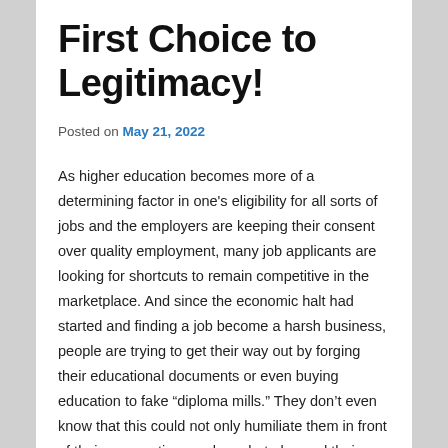First Choice to Legitimacy!
Posted on May 21, 2022
As higher education becomes more of a determining factor in one’s eligibility for all sorts of jobs and the employers are keeping their consent over quality employment, many job applicants are looking for shortcuts to remain competitive in the marketplace. And since the economic halt had started and finding a job become a harsh business, people are trying to get their way out by forging their educational documents or even buying education to fake “diploma mills.” They don’t even know that this could not only humiliate them in front of their prospective employer but also end their career in a gutter. A total loss of time, money and mental peace.
Every single employer is now looking for the best